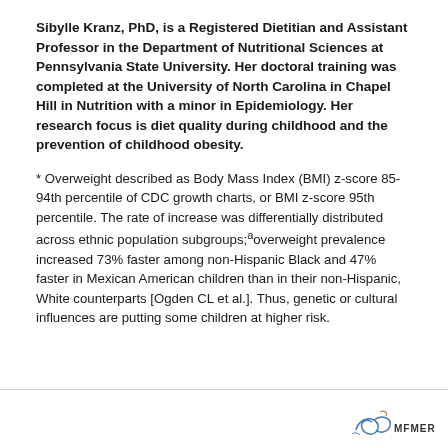Sibylle Kranz, PhD, is a Registered Dietitian and Assistant Professor in the Department of Nutritional Sciences at Pennsylvania State University. Her doctoral training was completed at the University of North Carolina in Chapel Hill in Nutrition with a minor in Epidemiology. Her research focus is diet quality during childhood and the prevention of childhood obesity.
* Overweight described as Body Mass Index (BMI) z-score 85-94th percentile of CDC growth charts, or BMI z-score 95th percentile. The rate of increase was differentially distributed across ethnic population subgroups;ᵃoverweight prevalence increased 73% faster among non-Hispanic Black and 47% faster in Mexican American children than in their non-Hispanic, White counterparts [Ogden CL et al.]. Thus, genetic or cultural influences are putting some children at higher risk.